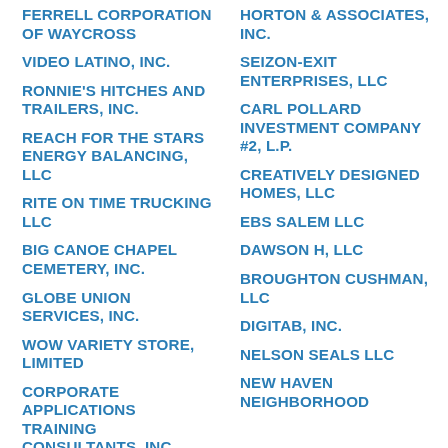FERRELL CORPORATION OF WAYCROSS
VIDEO LATINO, INC.
RONNIE'S HITCHES AND TRAILERS, INC.
REACH FOR THE STARS ENERGY BALANCING, LLC
RITE ON TIME TRUCKING LLC
BIG CANOE CHAPEL CEMETERY, INC.
GLOBE UNION SERVICES, INC.
WOW VARIETY STORE, LIMITED
CORPORATE APPLICATIONS TRAINING CONSULTANTS, INC.
HORTON & ASSOCIATES, INC.
SEIZON-EXIT ENTERPRISES, LLC
CARL POLLARD INVESTMENT COMPANY #2, L.P.
CREATIVELY DESIGNED HOMES, LLC
EBS SALEM LLC
DAWSON H, LLC
BROUGHTON CUSHMAN, LLC
DIGITAB, INC.
NELSON SEALS LLC
NEW HAVEN NEIGHBORHOOD